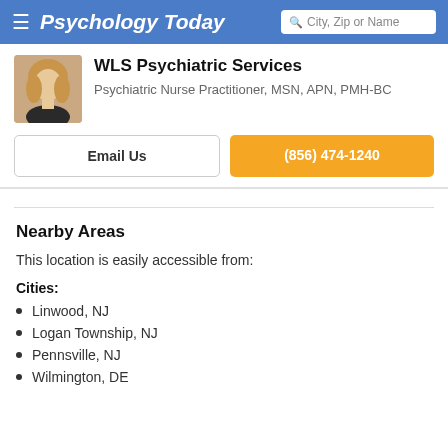Psychology Today — City, Zip or Name search bar
WLS Psychiatric Services
Psychiatric Nurse Practitioner, MSN, APN, PMH-BC
Email Us
(856) 474-1240
Nearby Areas
This location is easily accessible from:
Cities:
Linwood, NJ
Logan Township, NJ
Pennsville, NJ
Wilmington, DE